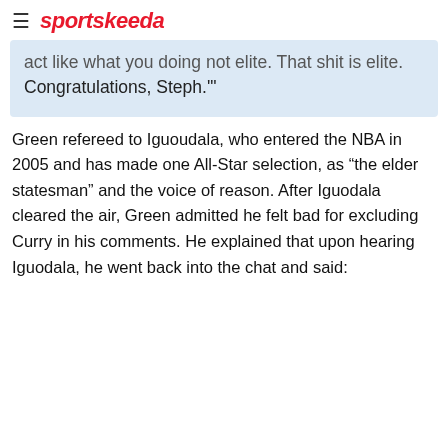sportskeeda
act like what you doing not elite. That shit is elite. Congratulations, Steph.'"
Green refereed to Iguoudala, who entered the NBA in 2005 and has made one All-Star selection, as “the elder statesman” and the voice of reason. After Iguodala cleared the air, Green admitted he felt bad for excluding Curry in his comments. He explained that upon hearing Iguodala, he went back into the chat and said: